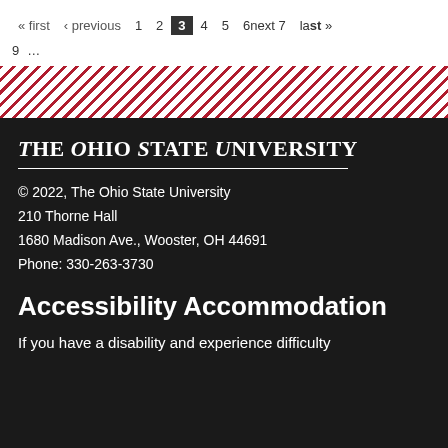« first ‹ previous 1 2 3 4 5 6next 7 last »
9 ...
[Figure (illustration): Diagonal red and white striped decorative band]
The Ohio State University
© 2022, The Ohio State University
210 Thorne Hall
1680 Madison Ave., Wooster, OH 44691
Phone: 330-263-3730
Accessibility Accommodation
If you have a disability and experience difficulty